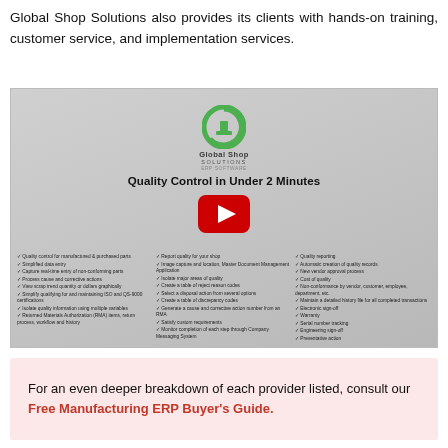Global Shop Solutions also provides its clients with hands-on training, customer service, and implementation services.
[Figure (screenshot): Screenshot of a Global Shop Solutions video thumbnail showing 'Quality Control in Under 2 Minutes' with a YouTube play button overlay and a checklist of quality control features in three columns.]
For an even deeper breakdown of each provider listed, consult our Free Manufacturing ERP Buyer's Guide.